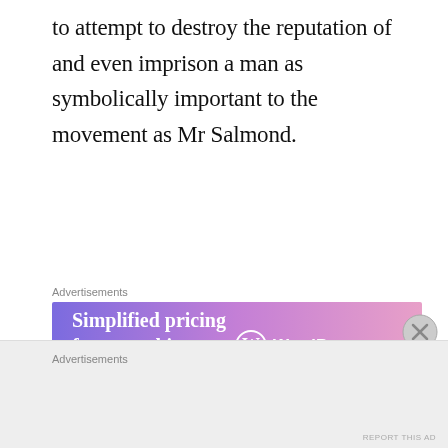to attempt to destroy the reputation of and even imprison a man as symbolically important to the movement as Mr Salmond.
[Figure (other): WordPress.com advertisement banner: 'Simplified pricing for everything you need.' with WordPress.com logo on gradient purple-pink background]
Over the past weeks and months I and a number of other bloggers have been under sustained attack from within the independence movement for our support of Mr Salmond. So last night
[Figure (other): Advertisements placeholder area at the bottom of the page with grey background]